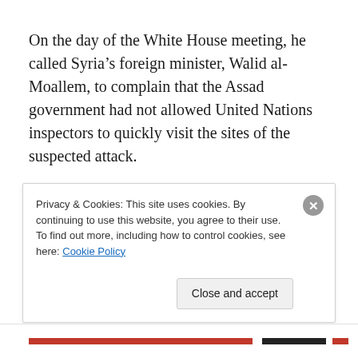On the day of the White House meeting, he called Syria’s foreign minister, Walid al-Moallem, to complain that the Assad government had not allowed United Nations inspectors to quickly visit the sites of the suspected attack.
It was a rare high-level contact between American and Syrian officials in the time since the United States closed its embassy in Damascus last year.
As Thursday wore into Friday, American officials said, it became clear that the Assad government was still
Privacy & Cookies: This site uses cookies. By continuing to use this website, you agree to their use.
To find out more, including how to control cookies, see here: Cookie Policy